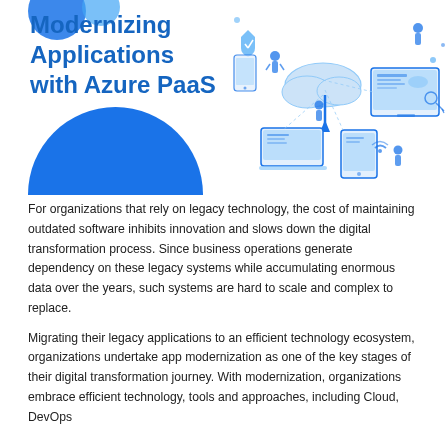Modernizing Applications with Azure PaaS
[Figure (illustration): Isometric illustration of cloud computing, digital devices (laptop, tablet, monitor), connected data elements, figures working with technology, representing application modernization and Azure PaaS ecosystem]
For organizations that rely on legacy technology, the cost of maintaining outdated software inhibits innovation and slows down the digital transformation process. Since business operations generate dependency on these legacy systems while accumulating enormous data over the years, such systems are hard to scale and complex to replace.
Migrating their legacy applications to an efficient technology ecosystem, organizations undertake app modernization as one of the key stages of their digital transformation journey. With modernization, organizations embrace efficient technology, tools and approaches, including Cloud, DevOps